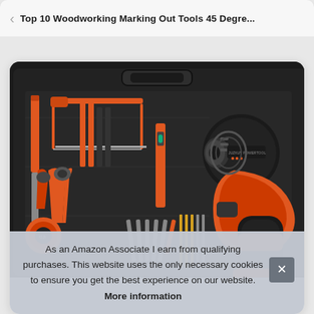Top 10 Woodworking Marking Out Tools 45 Degre...
[Figure (photo): A black tool kit case open showing various tools including screwdrivers, pliers, saw, drill bits, hex keys, and a level, with a cordless drill with black and red/orange body displayed prominently to the right.]
As an Amazon Associate I earn from qualifying purchases. This website uses the only necessary cookies to ensure you get the best experience on our website. More information